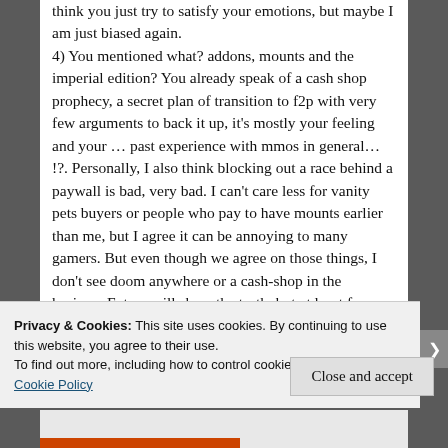think you just try to satisfy your emotions, but maybe I am just biased again.
4) You mentioned what? addons, mounts and the imperial edition? You already speak of a cash shop prophecy, a secret plan of transition to f2p with very few arguments to back it up, it's mostly your feeling and your ... past experience with mmos in general... !?. Personally, I also think blocking out a race behind a paywall is bad, very bad. I can't care less for vanity pets buyers or people who pay to have mounts earlier than me, but I agree it can be annoying to many gamers. But even though we agree on those things, I don't see doom anywhere or a cash-shop in the horizon. Future will show the truth, but at least for now I don't see very good
Privacy & Cookies: This site uses cookies. By continuing to use this website, you agree to their use.
To find out more, including how to control cookies, see here: Cookie Policy
Close and accept